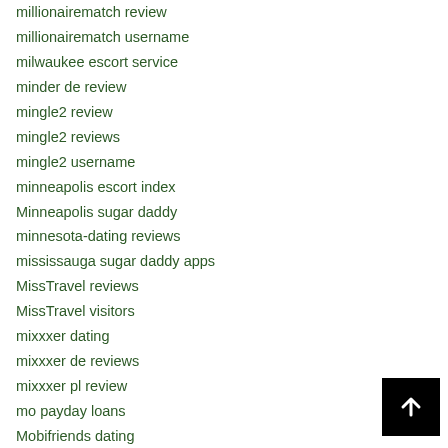millionairematch review
millionairematch username
milwaukee escort service
minder de review
mingle2 review
mingle2 reviews
mingle2 username
minneapolis escort index
Minneapolis sugar daddy
minnesota-dating reviews
mississauga sugar daddy apps
MissTravel reviews
MissTravel visitors
mixxxer dating
mixxxer de reviews
mixxxer pl review
mo payday loans
Mobifriends dating
mobifriends de reviews
[Figure (other): Black square button with white upward arrow icon (scroll to top button)]